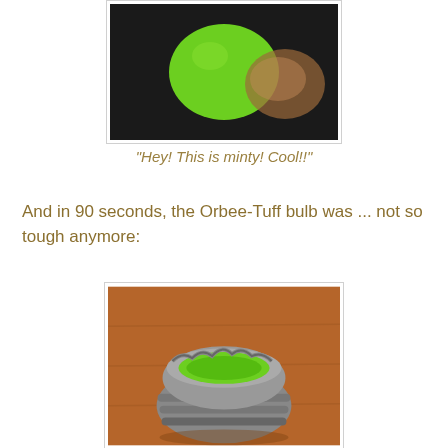[Figure (photo): Close-up photo of a green Orbee-Tuff bulb being held or chewed, with a dark background]
"Hey! This is minty! Cool!!"
And in 90 seconds, the Orbee-Tuff bulb was ... not so tough anymore:
[Figure (photo): Photo of a chewed/destroyed green Orbee-Tuff bulb sitting on a wooden surface, showing the chewed top and ribbed gray exterior with green interior visible]